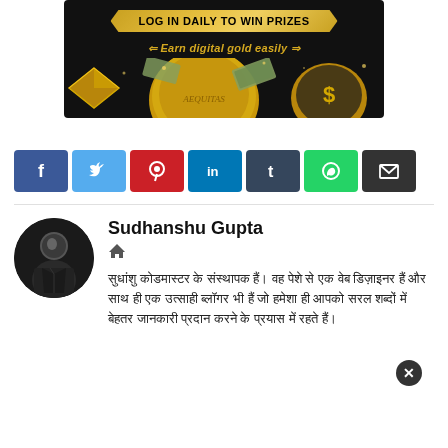[Figure (illustration): Dark banner advertisement with gold ribbon reading 'LOG IN DAILY TO WIN PRIZES', subtext 'Earn digital gold easily' with arrow decorations, and gold coins/money imagery at bottom]
[Figure (infographic): Row of 7 social share buttons: Facebook (blue), Twitter (light blue), Pinterest (red), LinkedIn (dark blue), Tumblr (dark slate), WhatsApp (green), Email (black)]
Sudhanshu Gupta
सुधांशु कोडमास्टर के संस्थापक हैं। वह पेशे से एक वेब डिज़ाइनर हैं और साथ ही एक उत्साही ब्लॉगर भी हैं जो हमेशा ही आपको सरल शब्दों में बेहतर जानकारी प्रदान करने के प्रयास में रहते हैं।